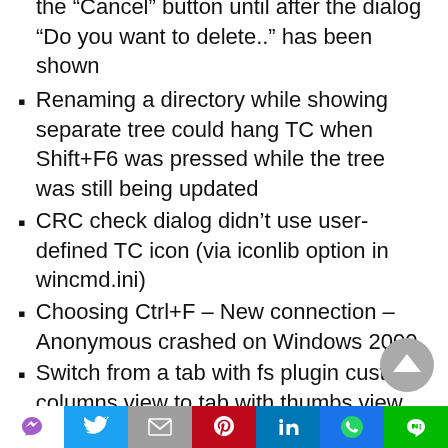the “Cancel” button until after the dialog “Do you want to delete..” has been shown
Renaming a directory while showing separate tree could hang TC when Shift+F6 was pressed while the tree was still being updated
CRC check dialog didn’t use user-defined TC icon (via iconlib option in wincmd.ini)
Choosing Ctrl+F – New connection – Anonymous crashed on Windows 2000
Switch from a tab with fs plugin custom columns view to tab with thumbs view, turn off thumbs view -> plugin custom columns